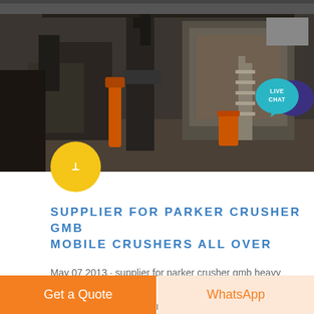[Figure (photo): Industrial crushing/mining equipment inside a factory or warehouse building, showing heavy machinery, metal structures, scaffolding, and an orange barrel.]
SUPPLIER FOR PARKER CRUSHER GMB MOBILE CRUSHERS ALL OVER
May 07 2013 · supplier for parker crusher gmb heavy industry is specialized in the design manufacture and supply of crushing equipment used in mining industry The product range of our company comprises mobile crushing
[Figure (photo): Industrial scaffolding or construction framework structure, light grey background.]
Get a Quote
WhatsApp